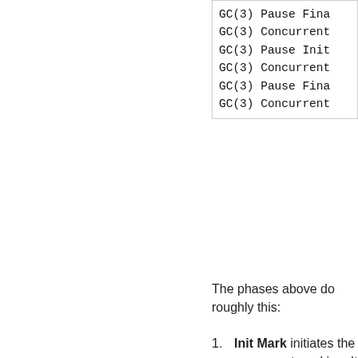[Figure (other): Code block showing GC(3) phase log lines: Pause Fina, Concurrent, Pause Init, Concurrent, Pause Fina, Concurrent]
The phases above do roughly this:
Init Mark initiates the concurrent marking. It prepares the heap and application threads for concurrent mark, and then scans the root set. This is the first pause in the cycle, and the most dominant consumer is the root set scan. Therefore, its